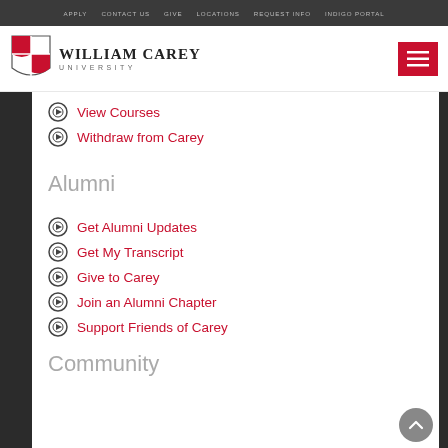APPLY  CONTACT US  GIVE  LOCATIONS  REQUEST INFO  INDIGO PORTAL
[Figure (logo): William Carey University shield logo with red and white quarters]
View Courses
Withdraw from Carey
Alumni
Get Alumni Updates
Get My Transcript
Give to Carey
Join an Alumni Chapter
Support Friends of Carey
Community